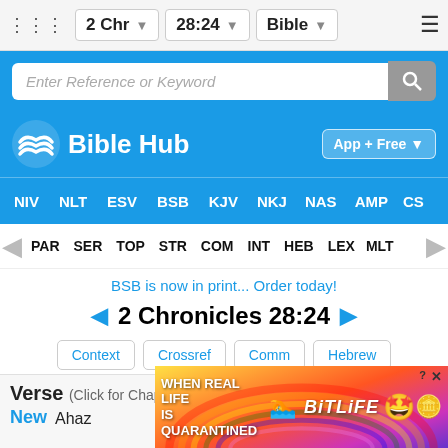2 Chr  28:24  Bible
Enter Reference or Keyword
Bible Hub
App + Free
NIV  NLT  ESV  BSB  KJV  NKJ  NAS  AMP  CS
PAR  SER  TOP  STR  COM  INT  HEB  LEX  MLT
BSB is now in print... Order today!
◄ 2 Chronicles 28:24 ►
Context  Crossref  Comm  Hebrew
Verse (Click for Chapter)
New
Ahaz
[Figure (screenshot): BitLife mobile game advertisement banner with rainbow background and text: WHEN REAL LIFE IS QUARANTINED]